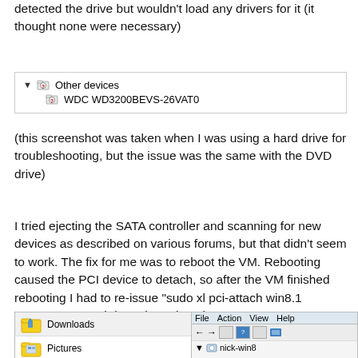detected the drive but wouldn't load any drivers for it (it thought none were necessary)
[Figure (screenshot): Device Manager snippet showing 'Other devices' with 'WDC WD3200BEVS-26VAT0' listed underneath with warning icon]
(this screenshot was taken when I was using a hard drive for troubleshooting, but the issue was the same with the DVD drive)
I tried ejecting the SATA controller and scanning for new devices as described on various forums, but that didn't seem to work. The fix for me was to reboot the VM. Rebooting caused the PCI device to detach, so after the VM finished rebooting I had to re-issue "sudo xl pci-attach win8.1 03:00.0" to attach it again.  Triumph!
[Figure (screenshot): Windows Explorer and Device Manager partial screenshot showing Downloads, Pictures folders and File/Action/View/Help menu bar and nick-win8 computer node]